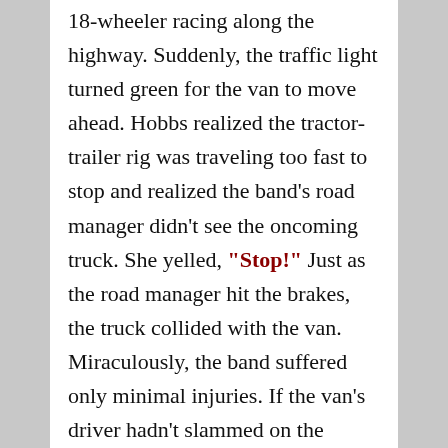18-wheeler racing along the highway. Suddenly, the traffic light turned green for the van to move ahead. Hobbs realized the tractor-trailer rig was traveling too fast to stop and realized the band's road manager didn't see the oncoming truck. She yelled, "Stop!" Just as the road manager hit the brakes, the truck collided with the van. Miraculously, the band suffered only minimal injuries. If the van's driver hadn't slammed on the brakes, they likely would have been killed. That's when Hobbs realized: the voice she'd heard the day before was that of her guardian angel. She scribbled down a song title, "Angels Among Us." For several years, she